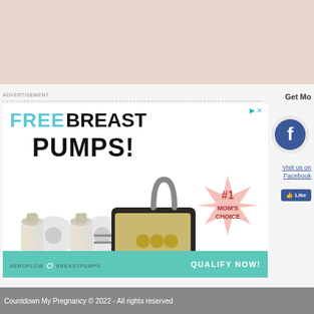[Figure (photo): Top pinkish-beige decorative banner area]
ADVERTISEMENT
[Figure (photo): Aeroflow Breastpumps advertisement. Text reads: FREE BREAST PUMPS! with image of a Medela breast pump set and bottles. Pink badge reads #1 MOM'S CHOICE. Button reads QUALIFY NOW! Logo: AEROFLOW BREASTPUMPS.]
Get Mo
[Figure (logo): Facebook logo circle icon]
Visit us on Facebook
[Figure (other): Facebook Like button]
Countdown My Pregnancy © 2022 - All rights reserved